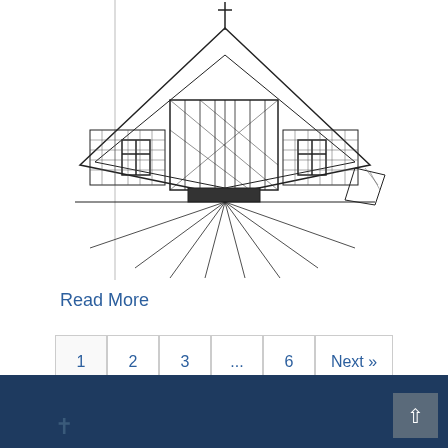[Figure (illustration): Line drawing illustration of a modern church building with a cross on top, large glass facade in the center, cross symbols on the sides, and radiating lines at the base suggesting a dramatic perspective view.]
Read More
1  2  3  ...  6  Next »